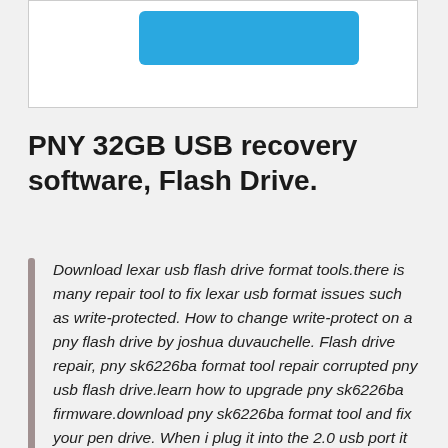[Figure (other): White box with blue rounded rectangle button at the top of the page]
PNY 32GB USB recovery software, Flash Drive.
Download lexar usb flash drive format tools.there is many repair tool to fix lexar usb format issues such as write-protected. How to change write-protect on a pny flash drive by joshua duvauchelle. Flash drive repair, pny sk6226ba format tool repair corrupted pny usb flash drive.learn how to upgrade pny sk6226ba firmware.download pny sk6226ba format tool and fix your pen drive. When i plug it into the 2.0 usb port it works. Note before starting the format